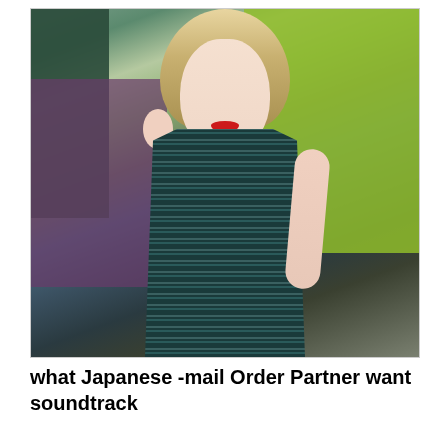[Figure (photo): A young woman with blonde wavy hair and red lips, wearing a dark teal/black sparkly halter dress, posing indoors with a green and purple blurred background.]
what Japanese -mail Order Partner want soundtrack